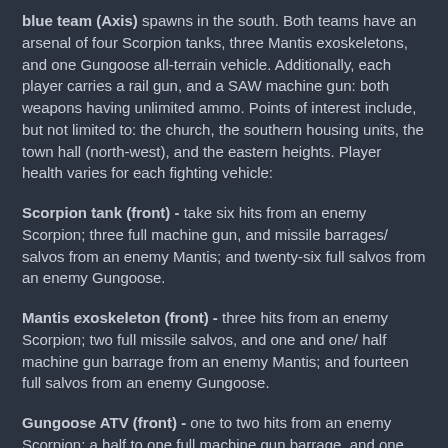blue team (Axis) spawns in the south. Both teams have an arsenal of four Scorpion tanks, three Mantis exoskeletons, and one Gungoose all-terrain vehicle. Additionally, each player carries a rail gun, and a SAW machine gun: both weapons having unlimited ammo. Points of interest include, but not limited to: the church, the southern housing units, the town hall (north-west), and the eastern heights. Player health varies for each fighting vehicle:
Scorpion tank (front) - take six hits from an enemy Scorpion; three full machine gun, and missile barrages/salvos from an enemy Mantis; and twenty-six full salvos from an enemy Gungoose.
Mantis exoskeleton (front) - three hits from an enemy Scorpion; two full missile salvos, and one and one/half machine gun barrage from an enemy Mantis; and fourteen full salvos from an enemy Gungoose.
Gungoose ATV (front) - one to two hits from an enemy Scorpion; a half to one full machine gun barrage, and one